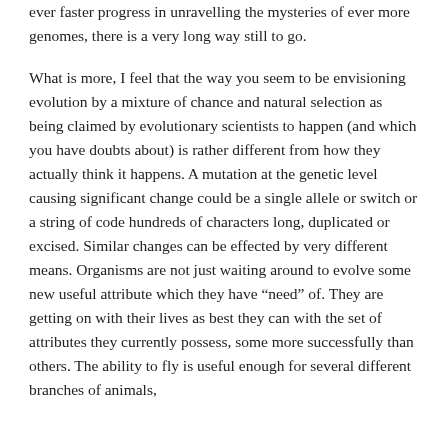ever faster progress in unravelling the mysteries of ever more genomes, there is a very long way still to go.
What is more, I feel that the way you seem to be envisioning evolution by a mixture of chance and natural selection as being claimed by evolutionary scientists to happen (and which you have doubts about) is rather different from how they actually think it happens. A mutation at the genetic level causing significant change could be a single allele or switch or a string of code hundreds of characters long, duplicated or excised. Similar changes can be effected by very different means. Organisms are not just waiting around to evolve some new useful attribute which they have “need” of. They are getting on with their lives as best they can with the set of attributes they currently possess, some more successfully than others. The ability to fly is useful enough for several different branches of animals,